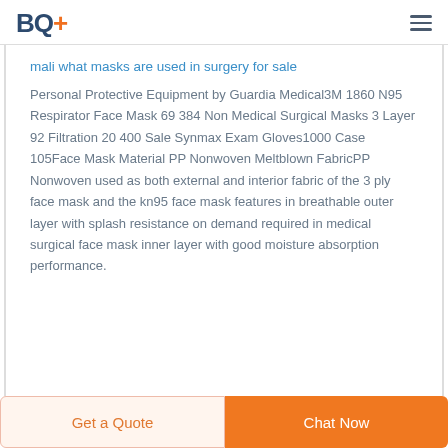BQ+
mali what masks are used in surgery for sale
Personal Protective Equipment by Guardia Medical3M 1860 N95 Respirator Face Mask 69 384 Non Medical Surgical Masks 3 Layer 92 Filtration 20 400 Sale Synmax Exam Gloves1000 Case 105Face Mask Material PP Nonwoven Meltblown FabricPP Nonwoven used as both external and interior fabric of the 3 ply face mask and the kn95 face mask features in breathable outer layer with splash resistance on demand required in medical surgical face mask inner layer with good moisture absorption performance.